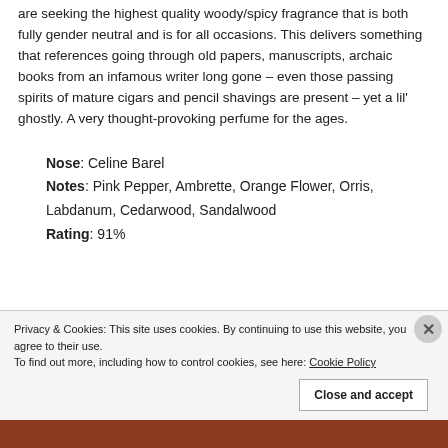are seeking the highest quality woody/spicy fragrance that is both fully gender neutral and is for all occasions. This delivers something that references going through old papers, manuscripts, archaic books from an infamous writer long gone – even those passing spirits of mature cigars and pencil shavings are present – yet a lil' ghostly. A very thought-provoking perfume for the ages.
Nose: Celine Barel
Notes: Pink Pepper, Ambrette, Orange Flower, Orris, Labdanum, Cedarwood, Sandalwood
Rating: 91%
Privacy & Cookies: This site uses cookies. By continuing to use this website, you agree to their use. To find out more, including how to control cookies, see here: Cookie Policy